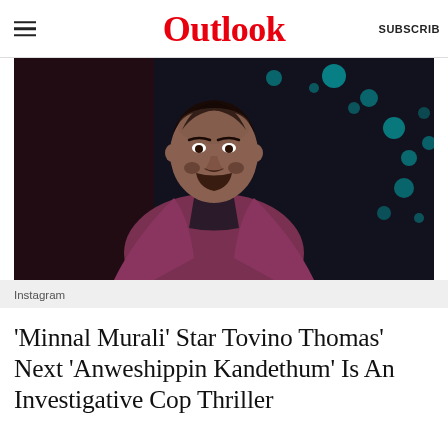Outlook
[Figure (photo): Portrait photo of Tovino Thomas, a man with beard wearing a mauve/burgundy blazer over a dark turtleneck, set against a dark background with teal bokeh lights]
Instagram
‘Minnal Murali’ Star Tovino Thomas’ Next ‘Anweshippin Kandethum’ Is An Investigative Cop Thriller